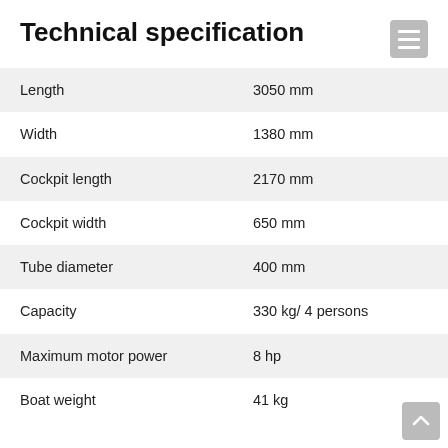Technical specification
|  |  |
| --- | --- |
| Length | 3050 mm |
| Width | 1380 mm |
| Cockpit length | 2170 mm |
| Cockpit width | 650 mm |
| Tube diameter | 400 mm |
| Capacity | 330 kg/ 4 persons |
| Maximum motor power | 8 hp |
| Boat weight | 41 kg |